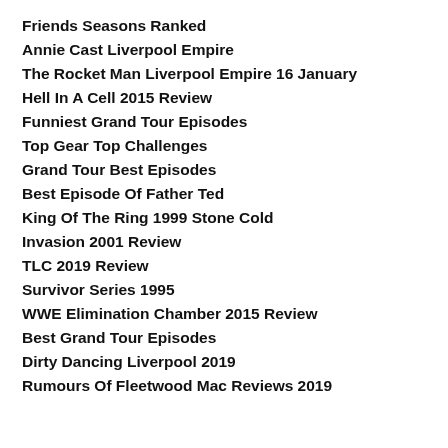Friends Seasons Ranked
Annie Cast Liverpool Empire
The Rocket Man Liverpool Empire 16 January
Hell In A Cell 2015 Review
Funniest Grand Tour Episodes
Top Gear Top Challenges
Grand Tour Best Episodes
Best Episode Of Father Ted
King Of The Ring 1999 Stone Cold
Invasion 2001 Review
TLC 2019 Review
Survivor Series 1995
WWE Elimination Chamber 2015 Review
Best Grand Tour Episodes
Dirty Dancing Liverpool 2019
Rumours Of Fleetwood Mac Reviews 2019